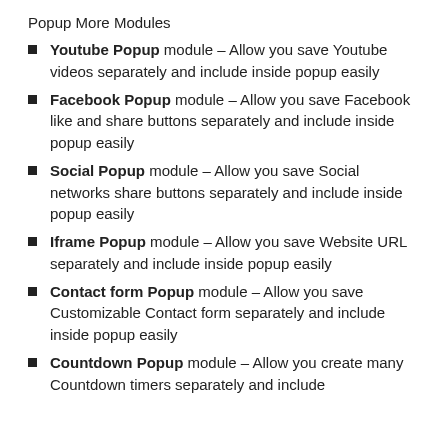Popup More Modules
Youtube Popup module – Allow you save Youtube videos separately and include inside popup easily
Facebook Popup module – Allow you save Facebook like and share buttons separately and include inside popup easily
Social Popup module – Allow you save Social networks share buttons separately and include inside popup easily
Iframe Popup module – Allow you save Website URL separately and include inside popup easily
Contact form Popup module – Allow you save Customizable Contact form separately and include inside popup easily
Countdown Popup module – Allow you create many Countdown timers separately and include